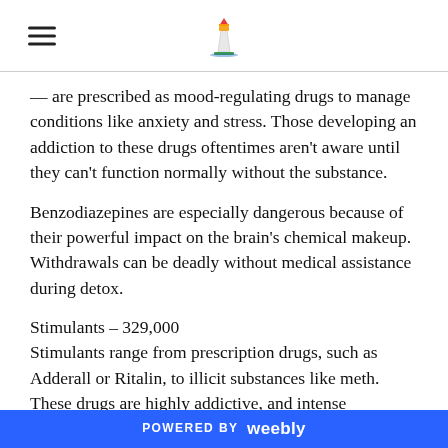[Sanita logo and hamburger menu]
— are prescribed as mood-regulating drugs to manage conditions like anxiety and stress. Those developing an addiction to these drugs oftentimes aren't aware until they can't function normally without the substance.
Benzodiazepines are especially dangerous because of their powerful impact on the brain's chemical makeup. Withdrawals can be deadly without medical assistance during detox.
Stimulants – 329,000
Stimulants range from prescription drugs, such as Adderall or Ritalin, to illicit substances like meth. These drugs are highly addictive, and intense withdrawal symptoms make quitting difficult. Stimulant users can quickly build a tolerance to the drug's euphoric "high," leading to increased
POWERED BY weebly